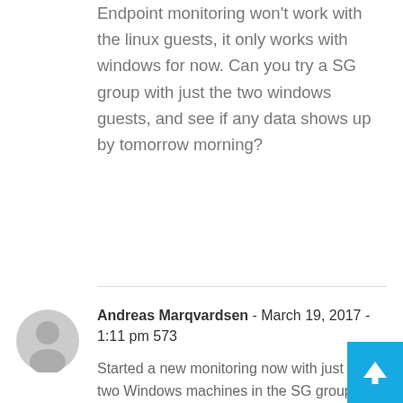Endpoint monitoring won't work with the linux guests, it only works with windows for now. Can you try a SG group with just the two windows guests, and see if any data shows up by tomorrow morning?
[Figure (illustration): Gray circular avatar icon for Andreas Marqvardsen]
Andreas Marqvardsen - March 19, 2017 - 1:11 pm 573
Started a new monitoring now with just the two Windows machines in the SG group. Lets see if there is something there tomorrow. Thank you for your replies Sean! Regards
[Figure (illustration): Reply button - blue background with white text]
[Figure (illustration): Gray circular avatar icon for second Andreas Marqvardsen comment]
Andreas Marqvardsen - March 20, 2017 - 12:52 pm 574
[Figure (illustration): Scroll to top button - blue square with white upward arrow]